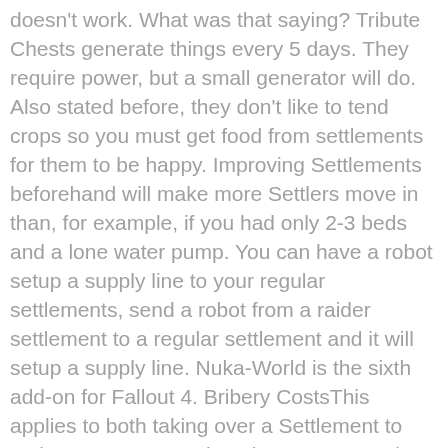doesn't work. What was that saying? Tribute Chests generate things every 5 days. They require power, but a small generator will do. Also stated before, they don't like to tend crops so you must get food from settlements for them to be happy. Improving Settlements beforehand will make more Settlers move in than, for example, if you had only 2-3 beds and a lone water pump. You can have a robot setup a supply line to your regular settlements, send a robot from a raider settlement to a regular settlement and it will setup a supply line. Nuka-World is the sixth add-on for Fallout 4. Bribery CostsThis applies to both taking over a Settlement to make an Outpost and getting one to supply your outposts: Failing and Just Killing Them AllWhen you set out to take a Settlement for the Raider Gangs, you lose control of the workshop at that particular settlement. More Fallout 4 Guides. With a pair of 15-20 population settlements providing food, I could have 8 outposts and only 2 vassals supplying them. plz help, I bet dogmeat is wandering sanctuary. I really need some help here. Take note of my recommendation you build up settlements before making them